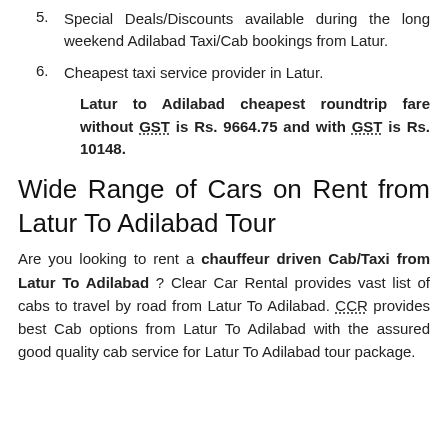5. Special Deals/Discounts available during the long weekend Adilabad Taxi/Cab bookings from Latur.
6. Cheapest taxi service provider in Latur.
Latur to Adilabad cheapest roundtrip fare without GST is Rs. 9664.75 and with GST is Rs. 10148.
Wide Range of Cars on Rent from Latur To Adilabad Tour
Are you looking to rent a chauffeur driven Cab/Taxi from Latur To Adilabad ? Clear Car Rental provides vast list of cabs to travel by road from Latur To Adilabad. CCR provides best Cab options from Latur To Adilabad with the assured good quality cab service for Latur To Adilabad tour package.